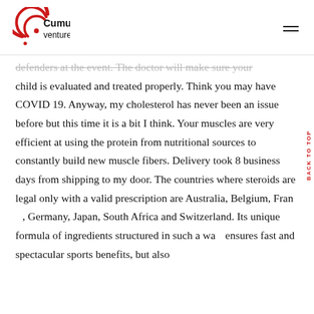[Figure (logo): Cumulative Ventures logo with red circular arc icon and black text]
defenders at the event. The doctor will make sure your child is evaluated and treated properly. Think you may have COVID 19. Anyway, my cholesterol has never been an issue before but this time it is a bit I think. Your muscles are very efficient at using the protein from nutritional sources to constantly build new muscle fibers. Delivery took 8 business days from shipping to my door. The countries where steroids are legal only with a valid prescription are Australia, Belgium, France, Germany, Japan, South Africa and Switzerland. Its unique formula of ingredients structured in such a way ensures fast and spectacular sports benefits, but also